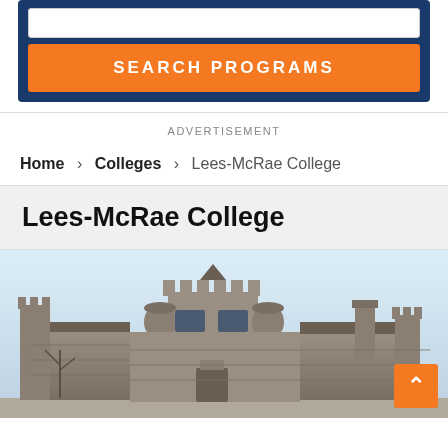[Figure (screenshot): Search programs input box and orange SEARCH PROGRAMS button inside a dark blue border container]
ADVERTISEMENT
Home > Colleges > Lees-McRae College
Lees-McRae College
[Figure (photo): Photo of Lees-McRae College stone building (castle-like structure) with a back-to-top orange button in the lower right corner]